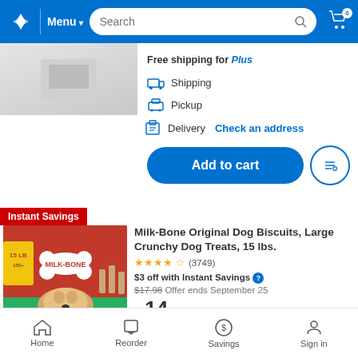Walmart app navigation bar with logo, Menu, Search, and cart (0 items)
Free shipping for Plus
Shipping
Pickup
Delivery   Check an address
Add to cart
[Figure (photo): Milk-Bone Original Dog Biscuits 15 lb box product image with golden retriever dog]
Instant Savings
Milk-Bone Original Dog Biscuits, Large Crunchy Dog Treats, 15 lbs.
★★★★★ (3749)
$3 off with Instant Savings   Offer ends September 25
$17.98
$14.98  $1.00/lb
Free shipping for Plus
Home   Reorder   Savings   Sign in